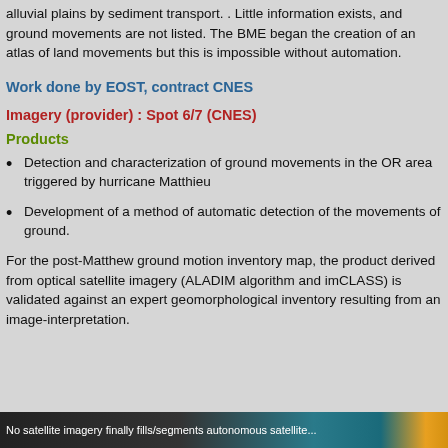alluvial plains by sediment transport. . Little information exists, and ground movements are not listed. The BME began the creation of an atlas of land movements but this is impossible without automation.
Work done by EOST, contract CNES
Imagery (provider) : Spot 6/7 (CNES)
Products
Detection and characterization of ground movements in the OR area triggered by hurricane Matthieu
Development of a method of automatic detection of the movements of ground.
For the post-Matthew ground motion inventory map, the product derived from optical satellite imagery (ALADIM algorithm and imCLASS) is validated against an expert geomorphological inventory resulting from an image-interpretation.
No satellite imagery finally fills/segments autonomous satellite...